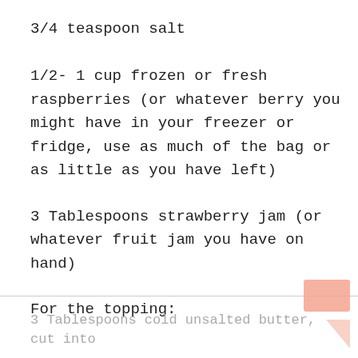3/4 teaspoon salt
1/2- 1 cup frozen or fresh raspberries (or whatever berry you might have in your freezer or fridge, use as much of the bag or as little as you have left)
3 Tablespoons strawberry jam (or whatever fruit jam you have on hand)
For the topping:
3 Tablespoons cold unsalted butter, cut into